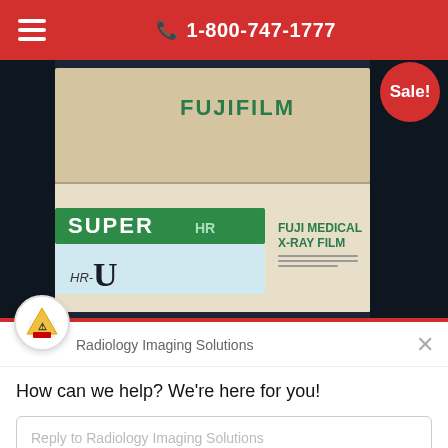1-800-747-1777
[Figure (photo): Fujifilm Super HR-U Fuji Medical X-Ray Film product boxes stacked, shown against a dark navy background. The boxes show 'FUJIFILM' branding, 'SUPER' label in green, 'HR-U' text, and 'FUJI MEDICAL X-RAY FILM' text.]
Sale!
Radiology Imaging Solutions
How can we help? We're here for you!
Reply to Radiology Imaging Solutions
Chat ⚡ by Drift